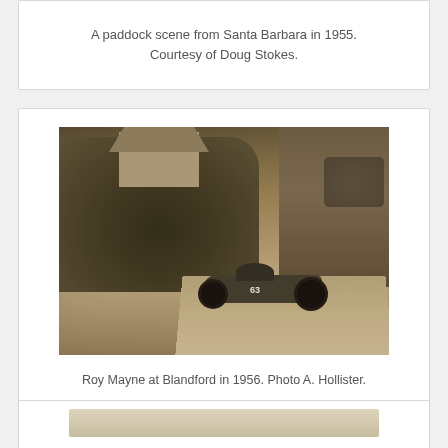A paddock scene from Santa Barbara in 1955. Courtesy of Doug Stokes.
[Figure (photo): Vintage black and white / sepia photograph of a racing car (number 63) driven by Roy Mayne at Blandford in 1956, on a narrow road flanked by dense hedgerow on the left and a stone wall on the right, with a shed/building visible in the background and spectators in the upper right.]
Roy Mayne at Blandford in 1956. Photo A. Hollister.
[Figure (photo): Partial view of another vintage photograph at the bottom of the page, cropped off.]